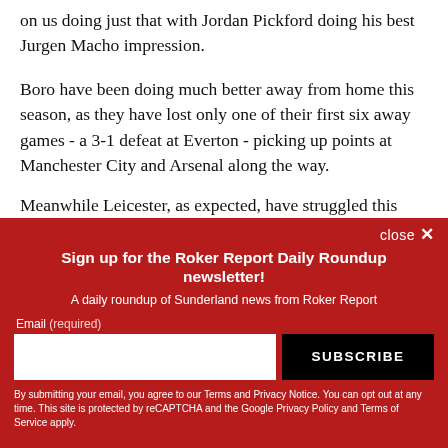on us doing just that with Jordan Pickford doing his best Jurgen Macho impression.
Boro have been doing much better away from home this season, as they have lost only one of their first six away games - a 3-1 defeat at Everton - picking up points at Manchester City and Arsenal along the way. Meanwhile Leicester, as expected, have struggled this
close ×
Sign up for the Roker Report Daily Roundup newsletter!
A daily roundup of Sunderland news from Roker Report
Email (required)
SUBSCRIBE
By submitting your email, you agree to our Terms and Privacy Notice. You can opt out at any time. This site is protected by reCAPTCHA and the Google Privacy Policy and Terms of Service apply.